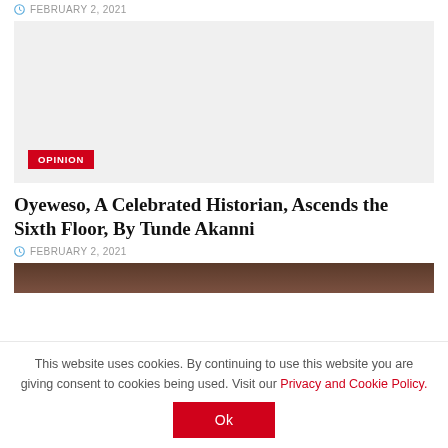FEBRUARY 2, 2021
[Figure (photo): Large grey placeholder image with OPINION badge overlay]
Oyeweso, A Celebrated Historian, Ascends the Sixth Floor, By Tunde Akanni
FEBRUARY 2, 2021
[Figure (photo): Partial image strip at bottom]
This website uses cookies. By continuing to use this website you are giving consent to cookies being used. Visit our Privacy and Cookie Policy. Ok